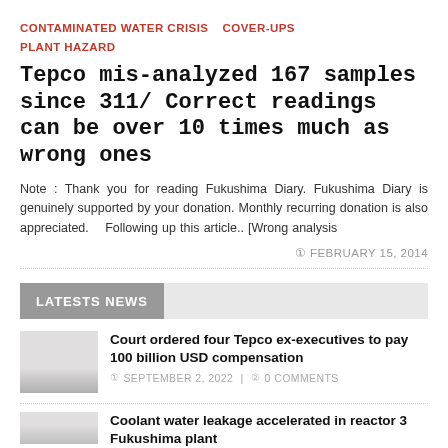CONTAMINATED WATER CRISIS   COVER-UPS   PLANT HAZARD
Tepco mis-analyzed 167 samples since 311/ Correct readings can be over 10 times much as wrong ones
Note : Thank you for reading Fukushima Diary. Fukushima Diary is genuinely supported by your donation. Monthly recurring donation is also appreciated.    Following up this article.. [Wrong analysis
FEBRUARY 15, 2014
LATESTS NEWS
Court ordered four Tepco ex-executives to pay 100 billion USD compensation
SEPTEMBER 2, 2022  |  0 COMMENTS
Coolant water leakage accelerated in reactor 3 Fukushima plant